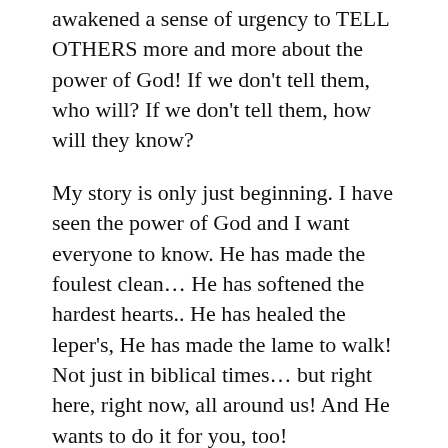awakened a sense of urgency to TELL OTHERS more and more about the power of God! If we don't tell them, who will? If we don't tell them, how will they know?
My story is only just beginning. I have seen the power of God and I want everyone to know. He has made the foulest clean… He has softened the hardest hearts.. He has healed the leper's, He has made the lame to walk! Not just in biblical times… but right here, right now, all around us! And He wants to do it for you, too!
Father in Heaven, open our eyes to the wondrous works of Your hand… show us Your Power… up close and personal in the lives of our students that